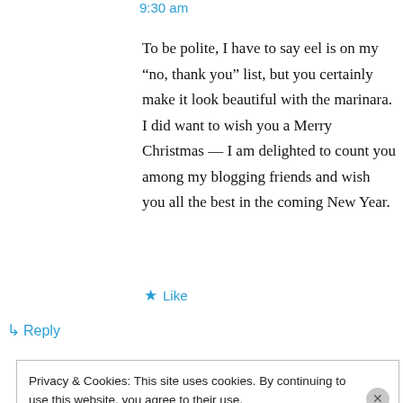9:30 am
To be polite, I have to say eel is on my “no, thank you” list, but you certainly make it look beautiful with the marinara. I did want to wish you a Merry Christmas — I am delighted to count you among my blogging friends and wish you all the best in the coming New Year.
★ Like
↵ Reply
Privacy & Cookies: This site uses cookies. By continuing to use this website, you agree to their use.
To find out more, including how to control cookies, see here: Cookie Policy
Close and accept